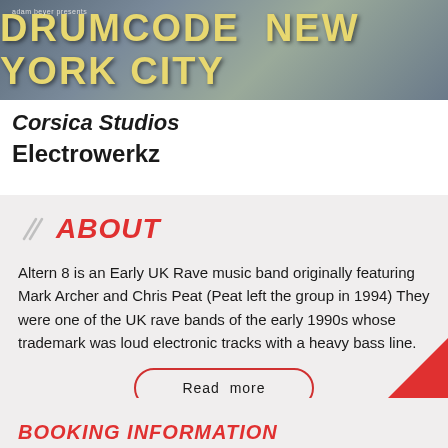[Figure (photo): Banner image with aerial city background and text 'DRUMCODE NEW YORK CITY' in yellow bold letters on a dark background]
Corsica Studios
Electrowerkz
ABOUT
Altern 8 is an Early UK Rave music band originally featuring Mark Archer and Chris Peat (Peat left the group in 1994) They were one of the UK rave bands of the early 1990s whose trademark was loud electronic tracks with a heavy bass line.
Read more
BOOKING INFORMATION